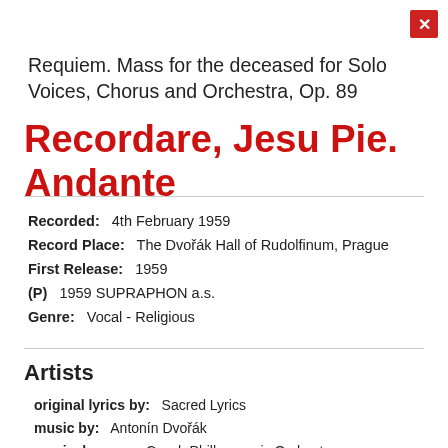Requiem. Mass for the deceased for Solo Voices, Chorus and Orchestra, Op. 89
Recordare, Jesu Pie. Andante
Recorded: 4th February 1959
Record Place: The Dvořák Hall of Rudolfinum, Prague
First Release: 1959
(P) 1959 SUPRAPHON a.s.
Genre: Vocal - Religious
Artists
original lyrics by: Sacred Lyrics
music by: Antonín Dvořák
musical group: Czech Philharmonic Orchestra
conductor: Karel Ančerl